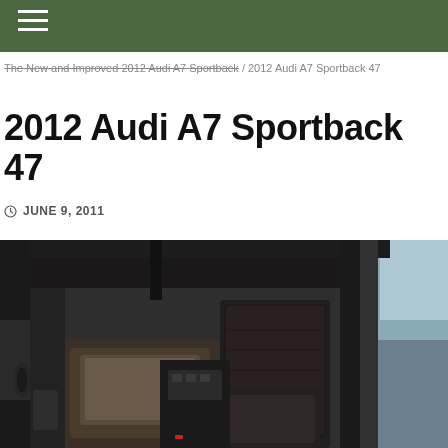Navigation bar with hamburger menu
The New and Improved 2012 Audi A7 Sportback / 2012 Audi A7 Sportback 47
2012 Audi A7 Sportback 47
JUNE 9, 2011
[Figure (photo): Interior photo of 2012 Audi A7 Sportback showing dark leather rear seats with the door open, rear passenger area visible]